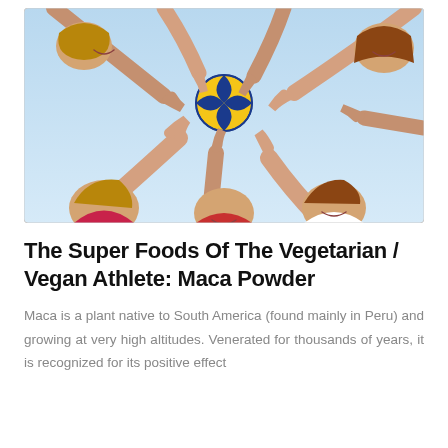[Figure (photo): Group of young women athletes reaching up toward a volleyball from below, shot from a low angle against a blue sky background.]
The Super Foods Of The Vegetarian / Vegan Athlete: Maca Powder
Maca is a plant native to South America (found mainly in Peru) and growing at very high altitudes. Venerated for thousands of years, it is recognized for its positive effect